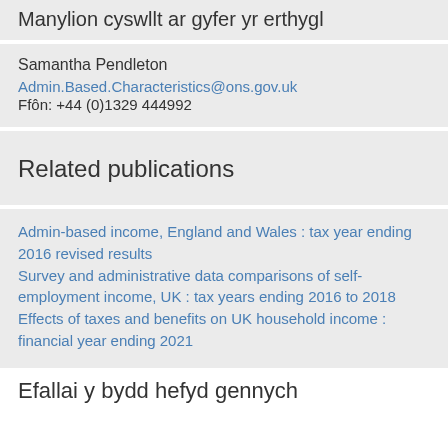Manylion cyswllt ar gyfer yr erthygl
Samantha Pendleton
Admin.Based.Characteristics@ons.gov.uk
Ffôn: +44 (0)1329 444992
Related publications
Admin-based income, England and Wales : tax year ending 2016 revised results
Survey and administrative data comparisons of self-employment income, UK : tax years ending 2016 to 2018
Effects of taxes and benefits on UK household income : financial year ending 2021
Efallai y bydd hefyd gennych